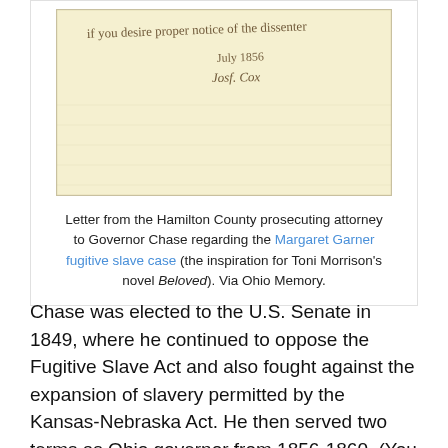[Figure (photo): Scanned historical handwritten letter on aged yellowed paper with cursive script, partially visible at top of image.]
Letter from the Hamilton County prosecuting attorney to Governor Chase regarding the Margaret Garner fugitive slave case (the inspiration for Toni Morrison's novel Beloved). Via Ohio Memory.
Chase was elected to the U.S. Senate in 1849, where he continued to oppose the Fugitive Slave Act and also fought against the expansion of slavery permitted by the Kansas-Nebraska Act. He then served two terms as Ohio governor from 1856-1860. (You can read Governor Chase's "State...